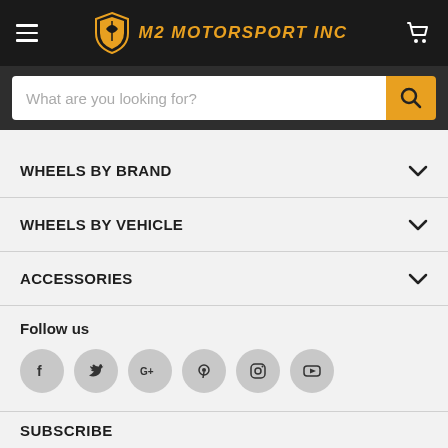[Figure (logo): M2 Motorsport Inc logo with shield icon and orange text on dark header, hamburger menu icon on left, shopping cart icon on right]
What are you looking for?
WHEELS BY BRAND
WHEELS BY VEHICLE
ACCESSORIES
Follow us
[Figure (infographic): Six social media icons in gray circles: Facebook, Twitter, Google+, Pinterest, Instagram, YouTube]
SUBSCRIBE